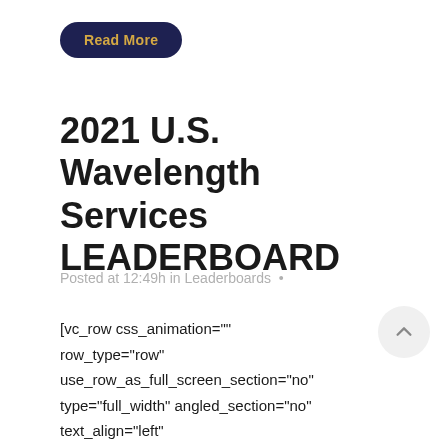[Figure (other): Dark navy rounded button with gold bold text 'Read More']
2021 U.S. Wavelength Services LEADERBOARD
Posted at 12:49h in Leaderboards •
[vc_row css_animation="" row_type="row" use_row_as_full_screen_section="no" type="full_width" angled_section="no" text_align="left" background_image_as_pattern="without_pattern"][vc_column][vc_column_text]Lumen, Zeus, Verizon, AT&T, Arelion